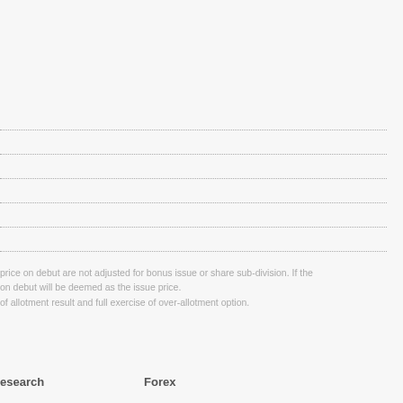price on debut are not adjusted for bonus issue or share sub-division. If the on debut will be deemed as the issue price. of allotment result and full exercise of over-allotment option.
esearch   Forex